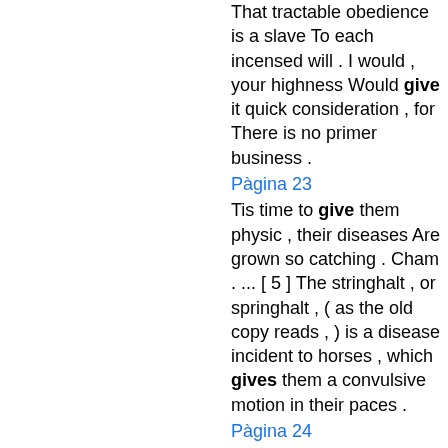That tractable obedience is a slave To each incensed will . I would , your highness Would give it quick consideration , for There is no primer business .
Pàgina 23
Tis time to give them physic , their diseases Are grown so catching . Cham . ... [ 5 ] The stringhalt , or springhalt , ( as the old copy reads , ) is a disease incident to horses , which gives them a convulsive motion in their paces .
Pàgina 24
True , they are so ; But few now give so great ones . My barge stays ; Your lordship shall along : -Come , good Sir